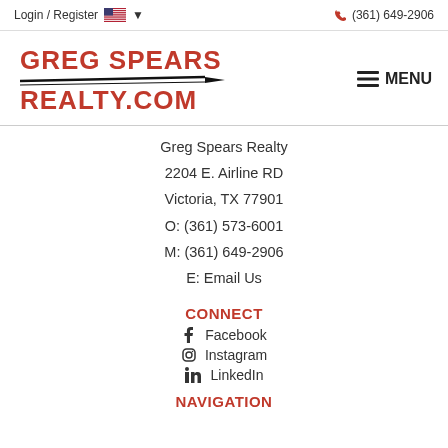Login / Register  🇺🇸 ▾  (361) 649-2906
[Figure (logo): Greg Spears Realty logo with red bold text and arrow/spear graphic]
Greg Spears Realty
2204 E. Airline RD
Victoria, TX 77901
O: (361) 573-6001
M: (361) 649-2906
E: Email Us
CONNECT
Facebook
Instagram
LinkedIn
NAVIGATION